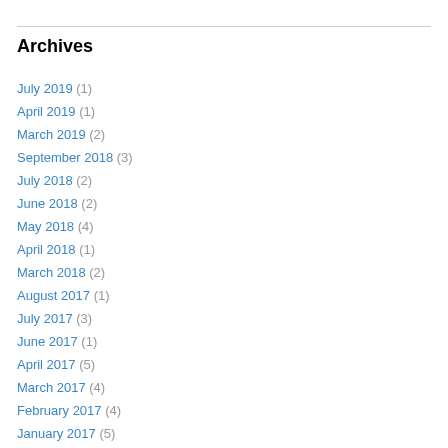Archives
July 2019 (1)
April 2019 (1)
March 2019 (2)
September 2018 (3)
July 2018 (2)
June 2018 (2)
May 2018 (4)
April 2018 (1)
March 2018 (2)
August 2017 (1)
July 2017 (3)
June 2017 (1)
April 2017 (5)
March 2017 (4)
February 2017 (4)
January 2017 (5)